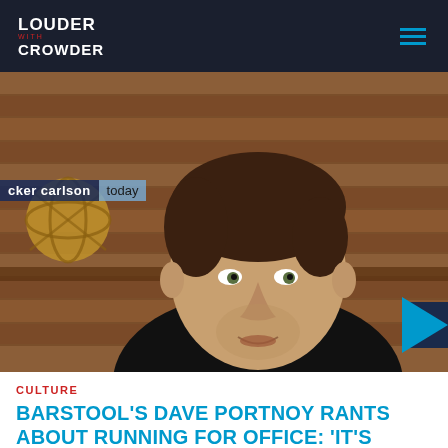LOUDER with CROWDER
[Figure (screenshot): Video screenshot of a man in a black shirt speaking, seated in front of a wood-paneled wall with a decorative sphere object. A lower-third graphic shows 'tucker carlson today'. A play button overlay appears at the right edge.]
CULTURE
BARSTOOL'S DAVE PORTNOY RANTS ABOUT RUNNING FOR OFFICE: 'IT'S FAIRLY DISGUSTING…'